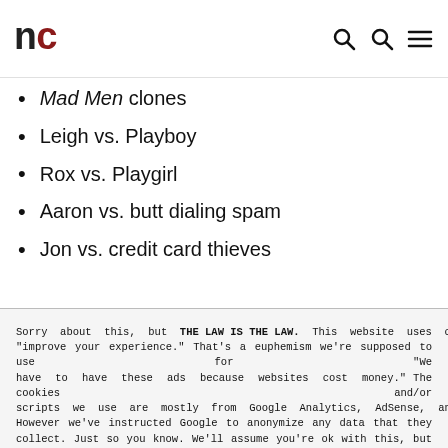nc
Mad Men clones
Leigh vs. Playboy
Rox vs. Playgirl
Aaron vs. butt dialing spam
Jon vs. credit card thieves
Sorry about this, but THE LAW IS THE LAW. This website uses cookies to "improve your experience." That's a euphemism we're supposed to use for "We have to have these ads because websites cost money." The cookies and/or scripts we use are mostly from Google Analytics, AdSense, and YouTube. However we've instructed Google to anonymize any data that they collect. Just so you know. We'll assume you're ok with this, but you can opt-out if you wish. Just bear in mind, certain embeds and such might not work.<br /> <br /> Also, please be aware that when we link out to products, we may earn a commission for doing so. Because we're certainly not doing it for our health. See our privacy policy & terms of use for more info than you would ever want to know. - Privacy Policy & Terms of Use